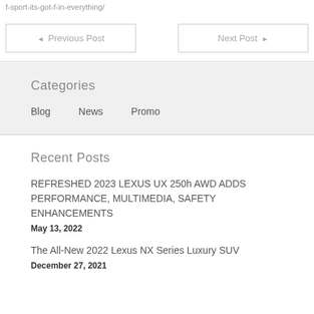f-sport-its-got-f-in-everything/
◄ Previous Post
Next Post ►
Categories
Blog
News
Promo
Recent Posts
REFRESHED 2023 LEXUS UX 250h AWD ADDS PERFORMANCE, MULTIMEDIA, SAFETY ENHANCEMENTS
May 13, 2022
The All-New 2022 Lexus NX Series Luxury SUV
December 27, 2021